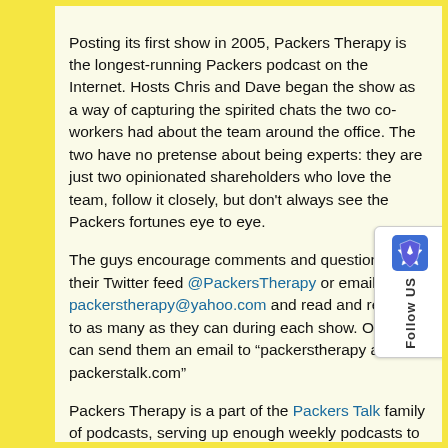Posting its first show in 2005, Packers Therapy is the longest-running Packers podcast on the Internet. Hosts Chris and Dave began the show as a way of capturing the spirited chats the two co-workers had about the team around the office. The two have no pretense about being experts: they are just two opinionated shareholders who love the team, follow it closely, but don't always see the Packers fortunes eye to eye.
The guys encourage comments and questions via their Twitter feed @PackersTherapy or email to packerstherapy@yahoo.com and read and respond to as many as they can during each show. Or you can send them an email to “packerstherapy at packerstalk.com”
Packers Therapy is a part of the Packers Talk family of podcasts, serving up enough weekly podcasts to satisfy the most fervent of Packer fans. Follow Packers Talk on Twitter, Facebook, and subscribe over at iTunes.